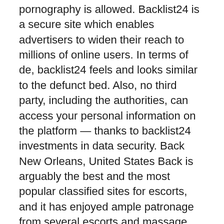pornography is allowed. Backlist24 is a secure site which enables advertisers to widen their reach to millions of online users. In terms of de, backlist24 feels and looks similar to the defunct bed. Also, no third party, including the authorities, can access your personal information on the platform — thanks to backlist24 investments in data security. Back New Orleans, United States Back is arguably the best and the most popular classified sites for escorts, and it has enjoyed ample patronage from several escorts and massage parlors.
Then write extremely fascinating ad copy. Text me. I like elegant clothes and travel In this section you find independent escorts, escort agencies and strip clubs from country